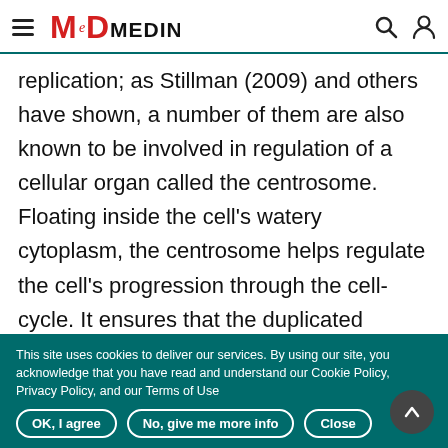MedIndia header with logo, search and user icons
replication; as Stillman (2009) and others have shown, a number of them are also known to be involved in regulation of a cellular organ called the centrosome. Floating inside the cell's watery cytoplasm, the centrosome helps regulate the cell's progression through the cell-cycle. It ensures that the duplicated chromosomes are segregated evenly to the daughter cells.
This site uses cookies to deliver our services. By using our site, you acknowledge that you have read and understand our Cookie Policy, Privacy Policy, and our Terms of Use
OK, I agree | No, give me more info | Close